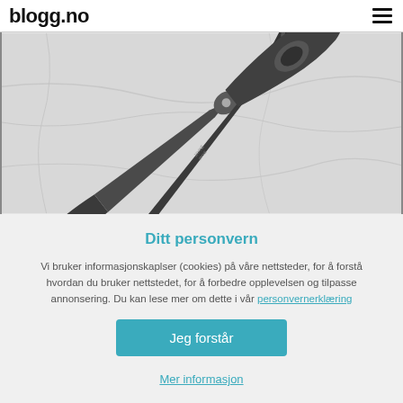blogg.no
[Figure (photo): Two black kitchen scissors / shears with serrated blades open and crossed on a white marble surface]
Ditt personvern
Vi bruker informasjonskaplser (cookies) på våre nettsteder, for å forstå hvordan du bruker nettstedet, for å forbedre opplevelsen og tilpasse annonsering. Du kan lese mer om dette i vår personvernerklæring
Jeg forstår
Mer informasjon